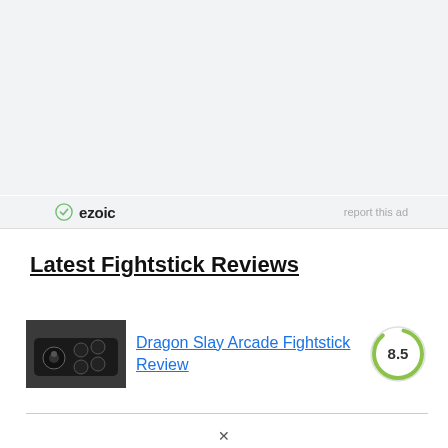[Figure (other): Ezoic ad placeholder area, light gray background]
ezoic   report this ad
Latest Fightstick Reviews
[Figure (photo): Thumbnail image of a Dragon Slay Arcade Fightstick, dark colored arcade controller on black background]
Dragon Slay Arcade Fightstick Review
[Figure (other): Score circle showing 8.5, green circular progress arc on white circle]